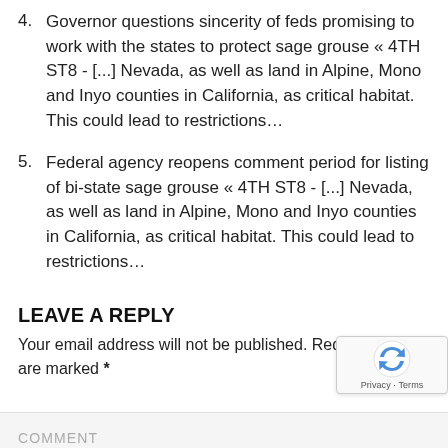4. Governor questions sincerity of feds promising to work with the states to protect sage grouse « 4TH ST8 - [...] Nevada, as well as land in Alpine, Mono and Inyo counties in California, as critical habitat. This could lead to restrictions...
5. Federal agency reopens comment period for listing of bi-state sage grouse « 4TH ST8 - [...] Nevada, as well as land in Alpine, Mono and Inyo counties in California, as critical habitat. This could lead to restrictions...
LEAVE A REPLY
Your email address will not be published. Required fields are marked *